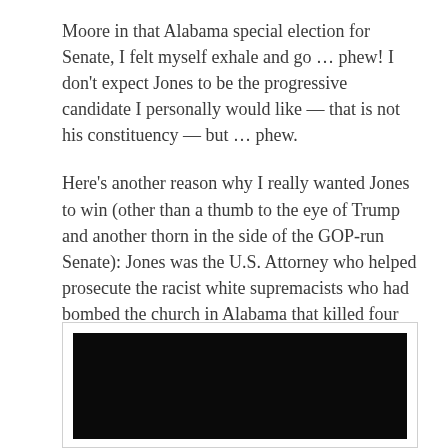Moore in that Alabama special election for Senate, I felt myself exhale and go … phew! I don't expect Jones to be the progressive candidate I personally would like — that is not his constituency — but … phew.
Here's another reason why I really wanted Jones to win (other than a thumb to the eye of Trump and another thorn in the side of the GOP-run Senate): Jones was the U.S. Attorney who helped prosecute the racist white supremacists who had bombed the church in Alabama that killed four little girls (and injured other children) that is the heart of the book we read in my classroom — The Watsons Go to Birmingham 1963 by Christopher Paul Curtis.
[Figure (photo): A mostly black/dark image, partially visible at the bottom of the page, appears to be a photo or video embed.]